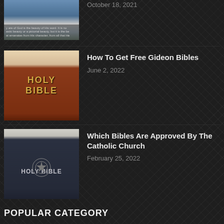[Figure (photo): Partial view of a thumbnail showing a sky/cloud scene with overlaid text about beauty of God]
October 18, 2021
[Figure (photo): Holy Bible with dark red/maroon cover and gold lettering saying HOLY BIBLE]
How To Get Free Gideon Bibles
June 2, 2022
[Figure (photo): Holy Bible with dark navy cover and decorative emblem, text reading HOLY BIBLE]
Which Bibles Are Approved By The Catholic Church
February 25, 2022
POPULAR CATEGORY
Must Read289
Popular273
Editor Pick 273